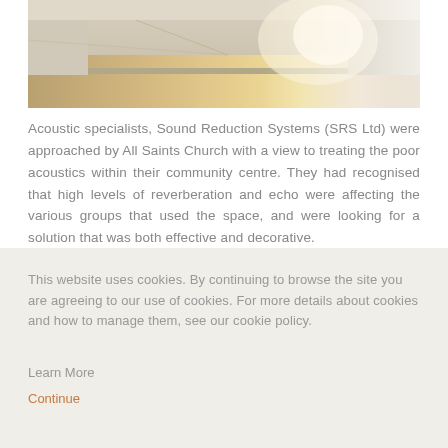[Figure (photo): Interior hallway/corridor of a community centre with wooden flooring and light-colored walls]
Acoustic specialists, Sound Reduction Systems (SRS Ltd) were approached by All Saints Church with a view to treating the poor acoustics within their community centre. They had recognised that high levels of reverberation and echo were affecting the various groups that used the space, and were looking for a solution that was both effective and decorative.
This website uses cookies. By continuing to browse the site you are agreeing to our use of cookies. For more details about cookies and how to manage them, see our cookie policy.
Learn More
Continue